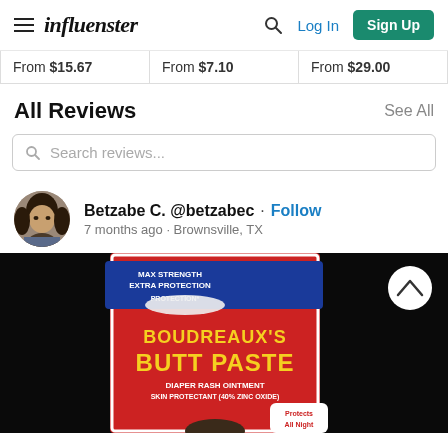influenster — Log In | Sign Up
From $15.67 | From $7.10 | From $29.00
All Reviews
See All
Search reviews...
Betzabe C. @betzabec · Follow
7 months ago · Brownsville, TX
[Figure (photo): Photo of Boudreaux's Butt Paste product (Max Strength Extra Protection, Diaper Rash Ointment, Skin Protectant 40% Zinc Oxide, Protects All Night) held up against a dark background]